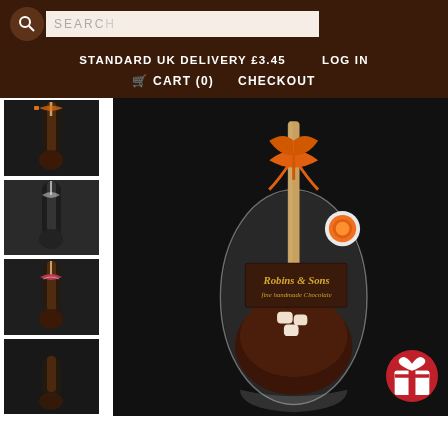SEARCH
STANDARD UK DELIVERY £3.45    LOG IN
🛒 CART (0)   CHECKOUT
[Figure (photo): Thumbnail of chocolate spoon product in clear packaging with ribbon]
[Figure (photo): Thumbnail of chocolate spoon product in clear packaging]
[Figure (photo): Thumbnail of chocolate spoon product with pink striped ribbon]
[Figure (photo): Thumbnail of chocolate spoon product partially visible]
[Figure (photo): Main product photo: Robins & Sons fine handmade chocolate hot chocolate spoon in clear oval packaging with orange ribbon, sticker, marshmallows, on dark background]